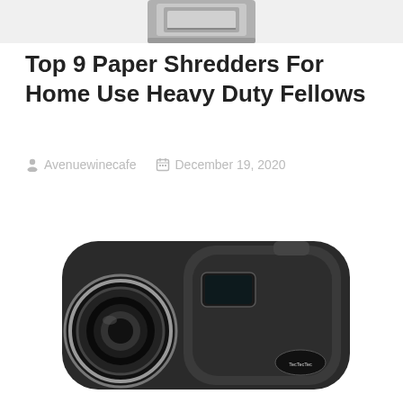[Figure (photo): Top portion of a paper shredder device, gray/silver color, partially visible at the top of the page]
Top 9 Paper Shredders For Home Use Heavy Duty Fellows
Avenuewinecafe   December 19, 2020
[Figure (photo): Black TecTecTec rangefinder/binocular device photographed against a white background, partially visible at the bottom of the page]